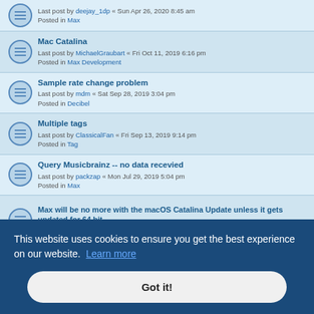Last post by deejay_1dp « Sun Apr 26, 2020 8:45 am
Posted in Max
Mac Catalina
Last post by MichaelGraubart « Fri Oct 11, 2019 6:16 pm
Posted in Max Development
Sample rate change problem
Last post by mdm « Sat Sep 28, 2019 3:04 pm
Posted in Decibel
Multiple tags
Last post by ClassicalFan « Fri Sep 13, 2019 9:14 pm
Posted in Tag
Query Musicbrainz -- no data recevied
Last post by packzap « Mon Jul 29, 2019 5:04 pm
Posted in Max
Max will be no more with the macOS Catalina Update unless it gets updated for 64 bit
Last post by nicomedia « Sat Jun 08, 2019 1:49 pm
Last post by DreamBig « Wed Jan 30, 2019 7:00 pm
Posted in Decibel
This website uses cookies to ensure you get the best experience on our website. Learn more
Got it!